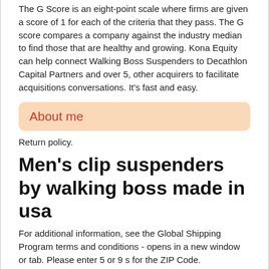The G Score is an eight-point scale where firms are given a score of 1 for each of the criteria that they pass. The G score compares a company against the industry median to find those that are healthy and growing. Kona Equity can help connect Walking Boss Suspenders to Decathlon Capital Partners and over 5, other acquirers to facilitate acquisitions conversations. It's fast and easy.
About me
Return policy.
Men's clip suspenders by walking boss made in usa
For additional information, see the Global Shipping Program terms and conditions - opens in a new window or tab. Please enter 5 or 9 s for the ZIP Code.
Shop with confidence. Payment details.
Walking boss suspenders